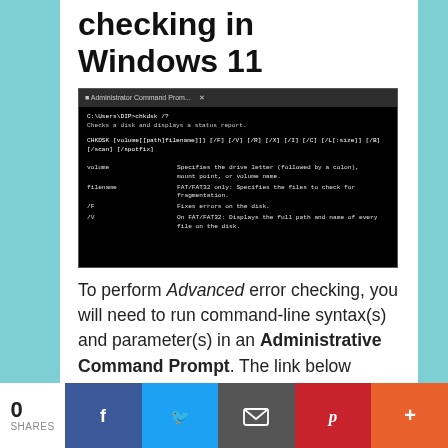checking in Windows 11
[Figure (screenshot): Administrator Command Prompt window showing chkdsk /? command output with syntax and parameters including volume, filename, /F, /V options]
To perform Advanced error checking, you will need to run command-line syntax(s) and parameter(s) in an Administrative Command Prompt. The link below opens in a new window.
How to open a Command Prompt with
0 SHARES | Facebook | Twitter | Email | Pinterest | More